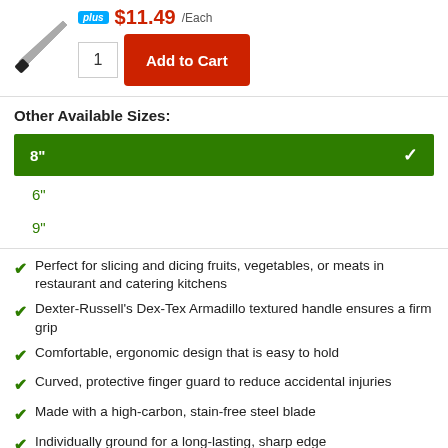[Figure (photo): Knife product image on white background]
plus $11.49 /Each
1  Add to Cart
Other Available Sizes:
8"  ✓ (selected)
6"
9"
Perfect for slicing and dicing fruits, vegetables, or meats in restaurant and catering kitchens
Dexter-Russell's Dex-Tex Armadillo textured handle ensures a firm grip
Comfortable, ergonomic design that is easy to hold
Curved, protective finger guard to reduce accidental injuries
Made with a high-carbon, stain-free steel blade
Individually ground for a long-lasting, sharp edge
Meets all health code standards